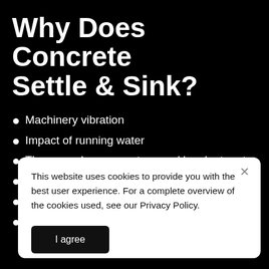Why Does Concrete Settle & Sink?
Machinery vibration
Impact of running water
The ground movement caused by plant roots
Freeze-thaw cycles
Damage caused by insects and animals
Insufficient drainage or grading
This website uses cookies to provide you with the best user experience. For a complete overview of the cookies used, see our Privacy Policy.
I agree